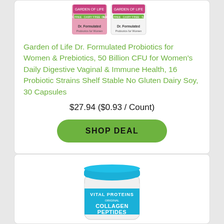[Figure (photo): Garden of Life Dr. Formulated Probiotics product packaging - two pink/white boxes]
Garden of Life Dr. Formulated Probiotics for Women & Prebiotics, 50 Billion CFU for Women's Daily Digestive Vaginal & Immune Health, 16 Probiotic Strains Shelf Stable No Gluten Dairy Soy, 30 Capsules
$27.94 ($0.93 / Count)
SHOP DEAL
[Figure (photo): Vital Proteins Original Collagen Peptides blue container/tub]